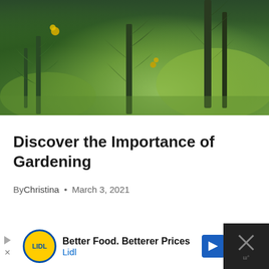[Figure (photo): Outdoor garden photo showing green plants, thistle-like shrubs with spiky leaves and yellow flowers, against a green grassy background with trees in soft focus]
Discover the Importance of Gardening
By Christina • March 3, 2021
[Figure (infographic): Advertisement banner: Lidl ad with yellow/blue circular logo, text 'Better Food. Betterer Prices' and 'Lidl', blue navigation arrow icon, close button with X on dark background]